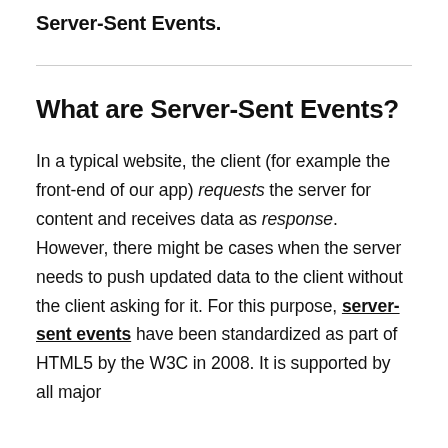in order to trigger this reaction, we will use Server-Sent Events.
What are Server-Sent Events?
In a typical website, the client (for example the front-end of our app) requests the server for content and receives data as response. However, there might be cases when the server needs to push updated data to the client without the client asking for it. For this purpose, server-sent events have been standardized as part of HTML5 by the W3C in 2008. It is supported by all major